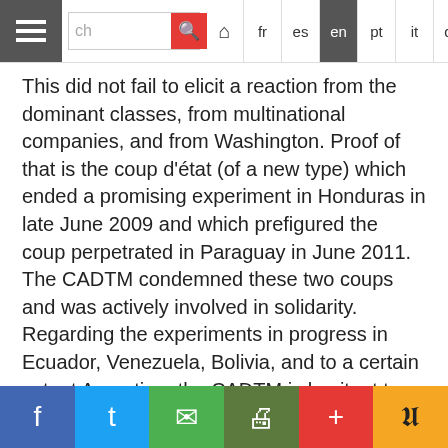Navigation bar with search, language links: fr es en pt it de Arabic, and home icon
This did not fail to elicit a reaction from the dominant classes, from multinational companies, and from Washington. Proof of that is the coup d'état (of a new type) which ended a promising experiment in Honduras in late June 2009 and which prefigured the coup perpetrated in Paraguay in June 2011. The CADTM condemned these two coups and was actively involved in solidarity.
Regarding the experiments in progress in Ecuador, Venezuela, Bolivia, and to a certain extent Argentina, the CADTM is hesitant to present these countries as models to be followed, being well aware of the limitations of the policies being implemented (not to mention the differences between the leaderships of those countries). The authorities of these countries have not broken with the extractivist exportation
Social share bar: Facebook, Twitter, Email, Print, Plus, Pocket